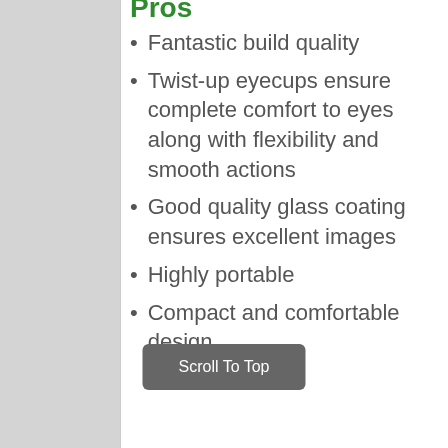Pros
Fantastic build quality
Twist-up eyecups ensure complete comfort to eyes along with flexibility and smooth actions
Good quality glass coating ensures excellent images
Highly portable
Compact and comfortable design
Scroll To Top